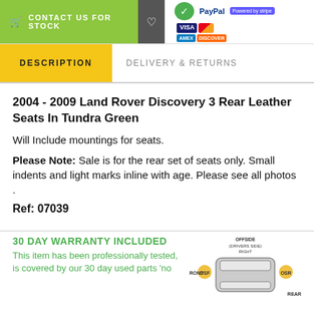CONTACT US FOR STOCK
2004 - 2009 Land Rover Discovery 3 Rear Leather Seats In Tundra Green
Will Include mountings for seats.
Please Note: Sale is for the rear set of seats only. Small indents and light marks inline with age. Please see all photos .
Ref: 07039
30 DAY WARRANTY INCLUDED
This item has been professionally tested, is covered by our 30 day used parts 'no
[Figure (illustration): Overhead car diagram showing OFFSIDE (DRIVERS SIDE) RIGHT, OSF and OSR labels, FRONT and REAR labels]